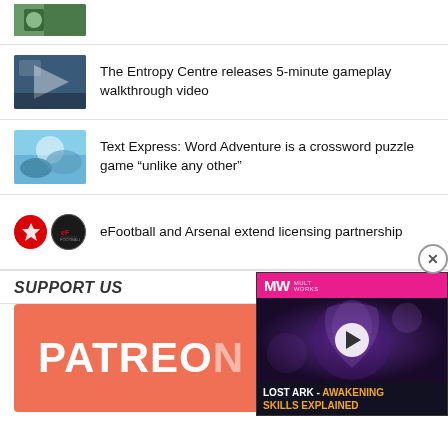[Figure (photo): Partial thumbnail image at top of page, partially cropped]
The Entropy Centre releases 5-minute gameplay walkthrough video
Text Express: Word Adventure is a crossword puzzle game “unlike any other”
eFootball and Arsenal extend licensing partnership
SUPPORT US
[Figure (logo): Patreon banner with coral/salmon background and white PATREON text]
[Figure (screenshot): Video overlay showing Lost Ark - Awakening Skills Explained with MW logo and play button]